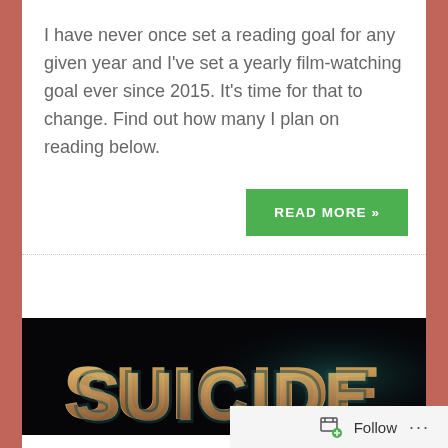I have never once set a reading goal for any given year and I've set a yearly film-watching goal ever since 2015. It's time for that to change. Find out how many I plan on reading below.
[Figure (screenshot): Green 'READ MORE »' button on the right side]
[Figure (screenshot): Movie banner with stylized 'SUICIDE' text in metallic/neon style on dark background]
[Figure (screenshot): Follow bar at bottom right with follow icon, 'Follow' text, and '...' menu]